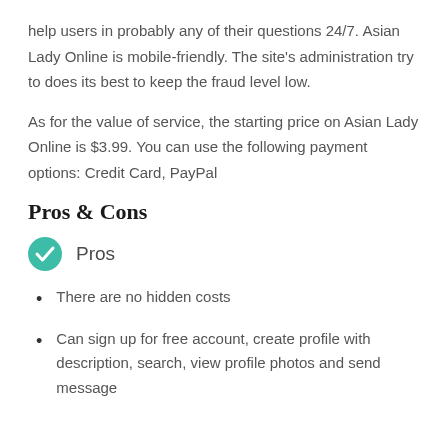help users in probably any of their questions 24/7. Asian Lady Online is mobile-friendly. The site's administration try to does its best to keep the fraud level low.
As for the value of service, the starting price on Asian Lady Online is $3.99. You can use the following payment options: Credit Card, PayPal
Pros & Cons
Pros
There are no hidden costs
Can sign up for free account, create profile with description, search, view profile photos and send message